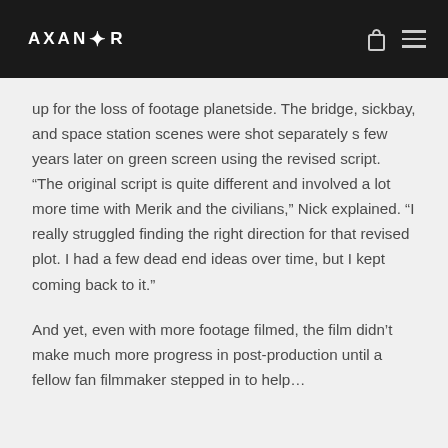AXANTR
up for the loss of footage planetside. The bridge, sickbay, and space station scenes were shot separately s few years later on green screen using the revised script. “The original script is quite different and involved a lot more time with Merik and the civilians,” Nick explained. “I really struggled finding the right direction for that revised plot. I had a few dead end ideas over time, but I kept coming back to it.”
And yet, even with more footage filmed, the film didn’t make much more progress in post-production until a fellow fan filmmaker stepped in to help…